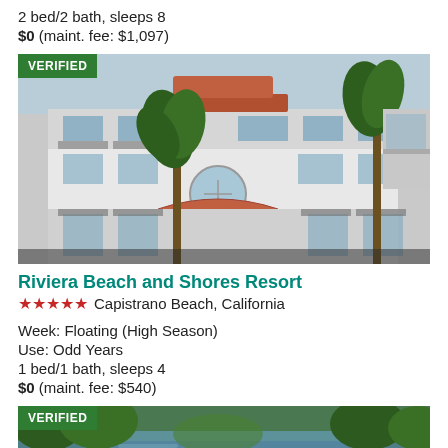2 bed/2 bath, sleeps 8
$0 (maint. fee: $1,097)
[Figure (photo): Exterior photo of Riviera Beach and Shores Resort with VERIFIED badge overlay, showing multi-story white building with palm trees]
Riviera Beach and Shores Resort
★★★★½ Capistrano Beach, California
Week: Floating (High Season)
Use: Odd Years
1 bed/1 bath, sleeps 4
$0 (maint. fee: $540)
[Figure (photo): Scenic photo of a river or waterway with lush green vegetation, with VERIFIED badge overlay]